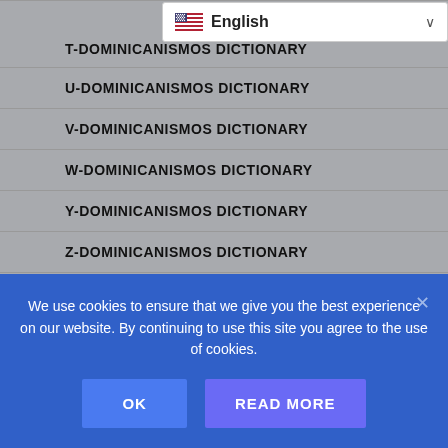T-DOMINICANISMOS DICTIONARY
U-DOMINICANISMOS DICTIONARY
V-DOMINICANISMOS DICTIONARY
W-DOMINICANISMOS DICTIONARY
Y-DOMINICANISMOS DICTIONARY
Z-DOMINICANISMOS DICTIONARY
MUSIC (OLD HTML WEBSITE)
DOMINICAN FOOD/COMIDA DOMINICANA – RECIPES, TRANSLATIONS & MORE
We use cookies to ensure that we give you the best experience on our website. By continuing to use this site you agree to the use of cookies.